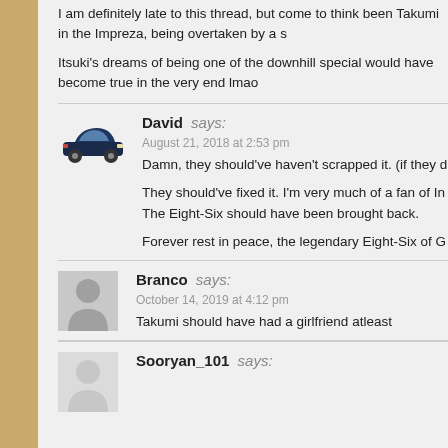I am definitely late to this thread, but come to think been Takumi in the Impreza, being overtaken by a s
Itsuki's dreams of being one of the downhill special would have become true in the very end lmao
David says:
August 21, 2018 at 2:53 pm
Damn, they should've haven't scrapped it. (if they d
They should've fixed it. I'm very much of a fan of In The Eight-Six should have been brought back.
Forever rest in peace, the legendary Eight-Six of G
Branco says:
October 14, 2019 at 4:12 pm
Takumi should have had a girlfriend atleast
Sooryan_101 says: